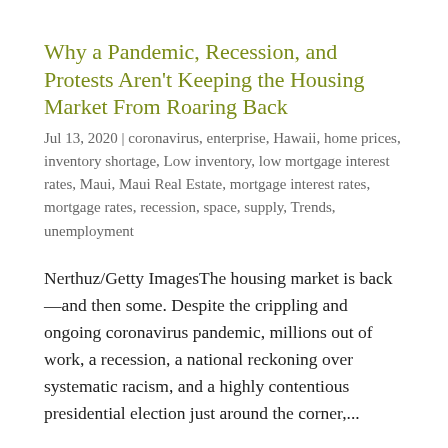Why a Pandemic, Recession, and Protests Aren't Keeping the Housing Market From Roaring Back
Jul 13, 2020 | coronavirus, enterprise, Hawaii, home prices, inventory shortage, Low inventory, low mortgage interest rates, Maui, Maui Real Estate, mortgage interest rates, mortgage rates, recession, space, supply, Trends, unemployment
Nerthuz/Getty ImagesThe housing market is back—and then some. Despite the crippling and ongoing coronavirus pandemic, millions out of work, a recession, a national reckoning over systematic racism, and a highly contentious presidential election just around the corner,...